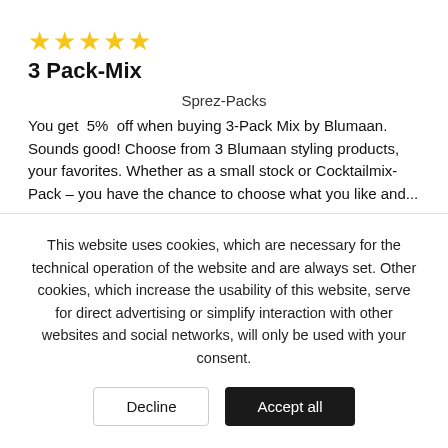[Figure (other): 5 gold star rating icons]
3 Pack-Mix
Sprez-Packs
You get  5%  off when buying 3-Pack Mix by Blumaan. Sounds good! Choose from 3 Blumaan styling products, your favorites. Whether as a small stock or Cocktailmix-Pack – you have the chance to choose what you like and...
Content 0.219 Liter (€285.66 * / 1 Liter)
€62.56 *
This website uses cookies, which are necessary for the technical operation of the website and are always set. Other cookies, which increase the usability of this website, serve for direct advertising or simplify interaction with other websites and social networks, will only be used with your consent.
Decline
Accept all